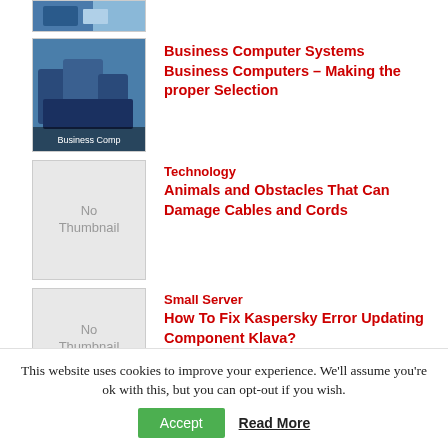[Figure (photo): Partial thumbnail image of people working on computers, cropped at top of page]
[Figure (photo): Thumbnail image of business people working with computers, labeled 'Business Comp']
Business Computer Systems
Business Computers – Making the proper Selection
[Figure (other): No Thumbnail placeholder image]
Technology
Animals and Obstacles That Can Damage Cables and Cords
[Figure (other): No Thumbnail placeholder image]
Small Server
How To Fix Kaspersky Error Updating Component Klava?
This website uses cookies to improve your experience. We'll assume you're ok with this, but you can opt-out if you wish.
Accept   Read More